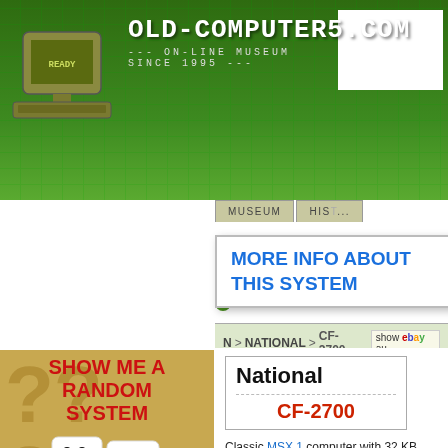OLD-COMPUTERS.COM — ON-LINE MUSEUM SINCE 1995
MORE INFO ABOUT THIS SYSTEM
Add Info  Se...
N > NATIONAL > CF-2700  show ebay au...
[Figure (screenshot): Show Me A Random System button with dice graphic and question marks on gold background]
OR USE TABS AND BUTTONS BELOW TO SELECT A SYSTEM
BROWSE CONSOLES
BY NAME
1 2 3 4 5 6 7 8 9 0
National CF-2700
Classic MSX 1 computer with 32 KB RA...
More picture in the Panasonic CF-2700... with 64 KB of RAM.
We need more info about this cons... pictures or anything you might fin...